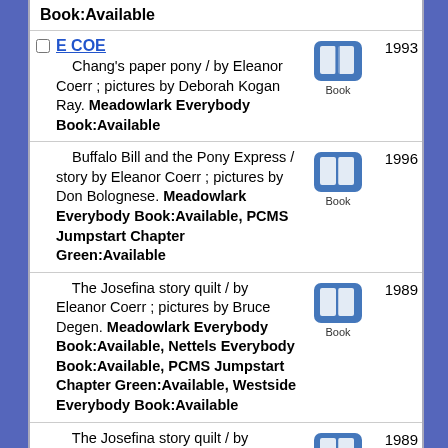Book:Available
E COE
Chang's paper pony / by Eleanor Coerr ; pictures by Deborah Kogan Ray. Meadowlark Everybody Book:Available | Book | 1993
Buffalo Bill and the Pony Express / story by Eleanor Coerr ; pictures by Don Bolognese. Meadowlark Everybody Book:Available, PCMS Jumpstart Chapter Green:Available | Book | 1996
The Josefina story quilt / by Eleanor Coerr ; pictures by Bruce Degen. Meadowlark Everybody Book:Available, Nettels Everybody Book:Available, PCMS Jumpstart Chapter Green:Available, Westside Everybody Book:Available | Book | 1989
The Josefina story quilt / by Eleanor Coerr ; pictures by Bruce | Book | 1989